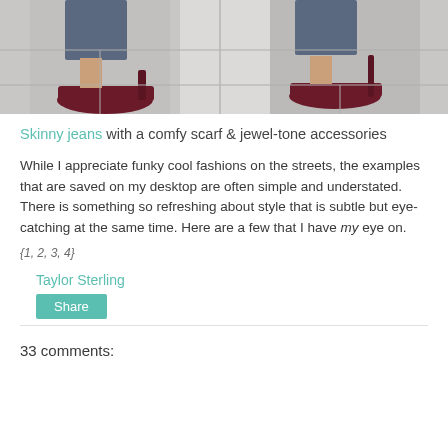[Figure (photo): Photo of two legs wearing skinny jeans and dark maroon/burgundy high heel stiletto shoes on a stone pavement, shown from knees down. Two shots side by side.]
Skinny jeans with a comfy scarf & jewel-tone accessories
While I appreciate funky cool fashions on the streets, the examples that are saved on my desktop are often simple and understated. There is something so refreshing about style that is subtle but eye-catching at the same time. Here are a few that I have my eye on.
{1, 2, 3, 4}
Taylor Sterling
Share
33 comments: